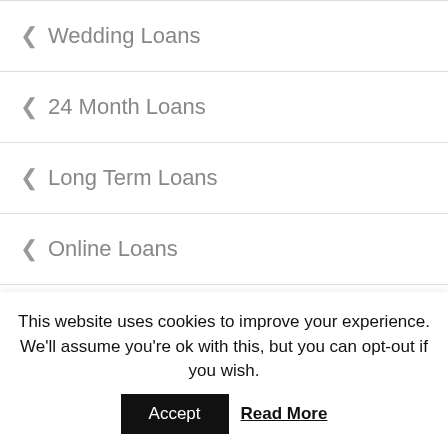Wedding Loans
24 Month Loans
Long Term Loans
Online Loans
Small Loans
100 Loans for Bad Credit
This website uses cookies to improve your experience. We'll assume you're ok with this, but you can opt-out if you wish.
Accept
Read More